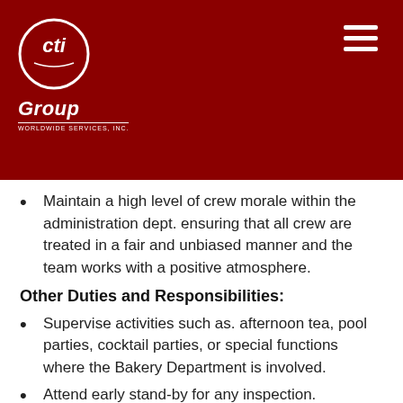[Figure (logo): CTi Group Worldwide Services Inc. logo — white circular logo with stylized 'cti' text on dark red background, with 'Group' in italic below and 'Worldwide Services, Inc.' in small caps]
Maintain a high level of crew morale within the administration dept. ensuring that all crew are treated in a fair and unbiased manner and the team works with a positive atmosphere.
Other Duties and Responsibilities:
Supervise activities such as. afternoon tea, pool parties, cocktail parties, or special functions where the Bakery Department is involved.
Attend early stand-by for any inspection.